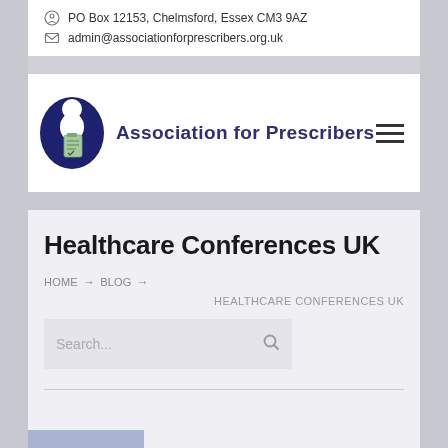PO Box 12153, Chelmsford, Essex CM3 9AZ
admin@associationforprescribers.org.uk
[Figure (logo): Association for Prescribers logo with circular blue emblem and text 'Association for Prescribers']
Healthcare Conferences UK
HOME → BLOG → HEALTHCARE CONFERENCES UK
Search...